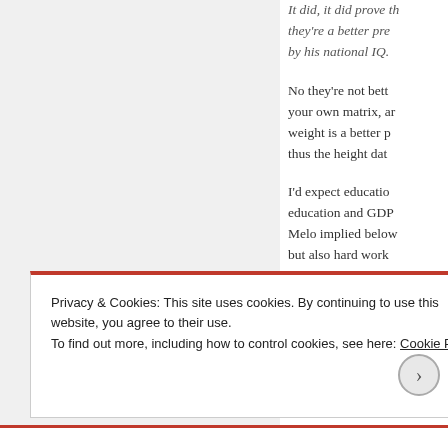It did, it did prove th they're a better pre by his national IQ.
No they're not bett your own matrix, ar weight is a better p thus the height dat
I'd expect educatio education and GDP Melo implied below but also hard work basketball skill to b height, since heigh
Privacy & Cookies: This site uses cookies. By continuing to use this website, you agree to their use. To find out more, including how to control cookies, see here: Cookie Policy
Close and accept